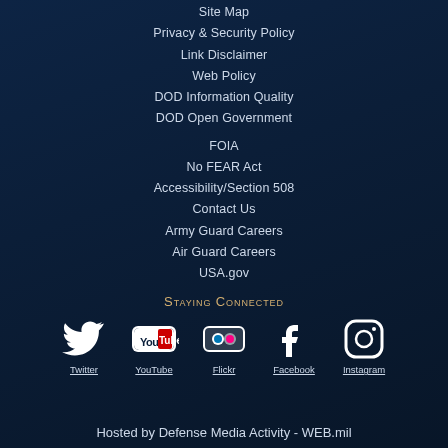Site Map
Privacy & Security Policy
Link Disclaimer
Web Policy
DOD Information Quality
DOD Open Government
FOIA
No FEAR Act
Accessibility/Section 508
Contact Us
Army Guard Careers
Air Guard Careers
USA.gov
Staying Connected
[Figure (infographic): Social media icons row: Twitter, YouTube, Flickr, Facebook, Instagram — each with icon and underlined label below]
Hosted by Defense Media Activity - WEB.mil